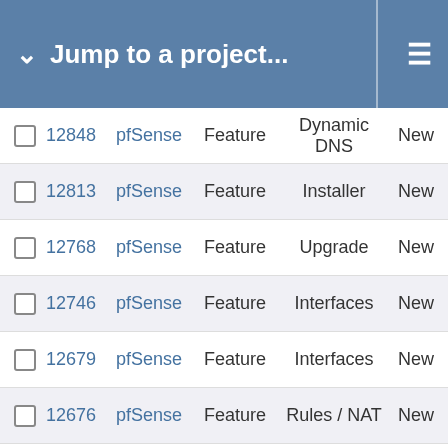Jump to a project...
12848  pfSense  Feature  Dynamic DNS  New
12813  pfSense  Feature  Installer  New
12768  pfSense  Feature  Upgrade  New
12746  pfSense  Feature  Interfaces  New
12679  pfSense  Feature  Interfaces  New
12676  pfSense  Feature  Rules / NAT  New
12665  pfSense  Feature  Rules / NAT  New
12625  pfSense  Feature  Logging  New
12602  pfSense  Feature  Dynamic DNS  New